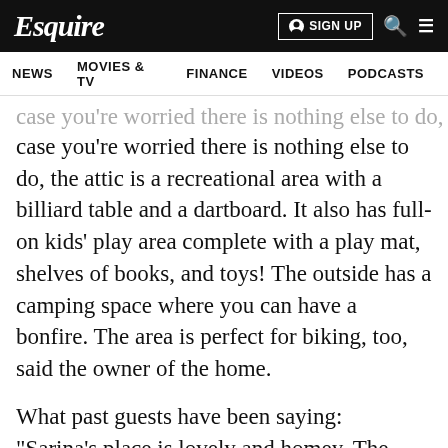Esquire | SIGN UP
NEWS  MOVIES & TV  FINANCE  VIDEOS  PODCASTS
case you're worried there is nothing else to do, the attic is a recreational area with a billiard table and a dartboard. It also has full-on kids' play area complete with a play mat, shelves of books, and toys! The outside has a camping space where you can have a bonfire. The area is perfect for biking, too, said the owner of the home.
What past guests have been saying:
"Sarina's place is lovely and homey. The kids enjoyed the pool and play room. I like the camping and bonfire area, perfect place for sharing stories